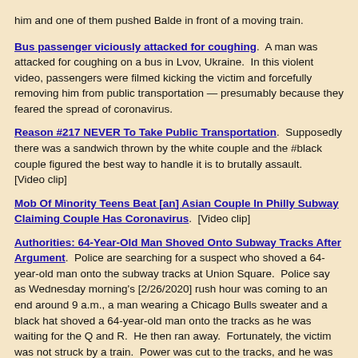him and one of them pushed Balde in front of a moving train.
Bus passenger viciously attacked for coughing. A man was attacked for coughing on a bus in Lvov, Ukraine. In this violent video, passengers were filmed kicking the victim and forcefully removing him from public transportation — presumably because they feared the spread of coronavirus.
Reason #217 NEVER To Take Public Transportation. Supposedly there was a sandwich thrown by the white couple and the #black couple figured the best way to handle it is to brutally assault. [Video clip]
Mob Of Minority Teens Beat [an] Asian Couple In Philly Subway Claiming Couple Has Coronavirus. [Video clip]
Authorities: 64-Year-Old Man Shoved Onto Subway Tracks After Argument. Police are searching for a suspect who shoved a 64-year-old man onto the subway tracks at Union Square. Police say as Wednesday morning's [2/26/2020] rush hour was coming to an end around 9 a.m., a man wearing a Chicago Bulls sweater and a black hat shoved a 64-year-old man onto the tracks as he was waiting for the Q and R. He then ran away. Fortunately, the victim was not struck by a train. Power was cut to the tracks, and he was helped to safety and brought to Bellevue Hospital with a cut to his hand.
[Figure (photo): Headshot photo of a woman with short hair against a light background]
'I hate white people': Woman charged with bias crime in Portland bus stop attack. A woman faces hate crime charges after authorities say she